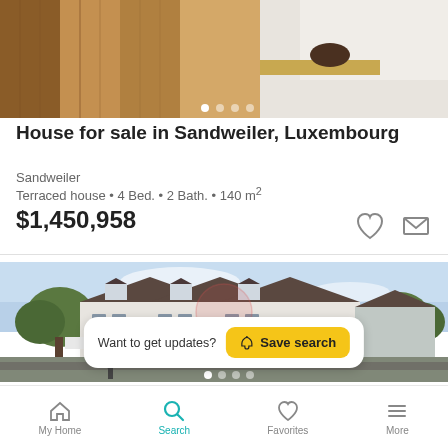[Figure (photo): Interior photo showing wooden paneling and kitchen area]
House for sale in Sandweiler, Luxembourg
Sandweiler
Terraced house • 4 Bed. • 2 Bath. • 140 m²
$1,450,958
[Figure (photo): Exterior photo of modern terraced houses with dark roofs and white facades]
Want to get updates? Save search
My Home  Search  Favorites  More